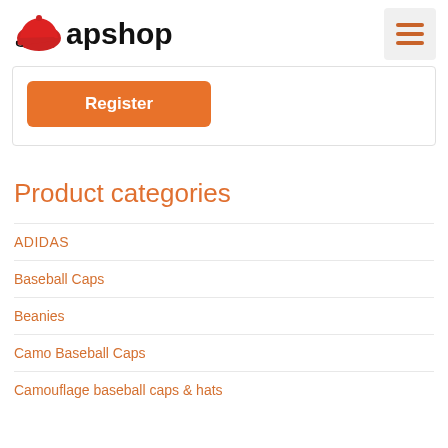[Figure (logo): Capshop logo with red baseball cap icon and bold black text 'Capshop']
[Figure (other): Hamburger menu icon (three horizontal orange lines) on a light gray background]
Register
Product categories
ADIDAS
Baseball Caps
Beanies
Camo Baseball Caps
Camouflage baseball caps & hats